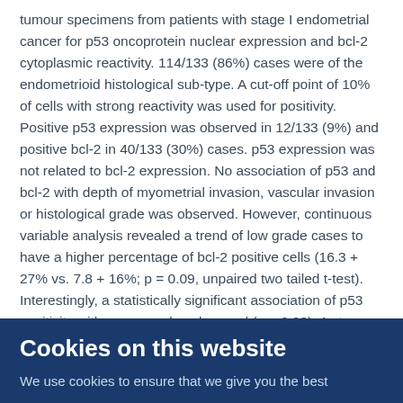tumour specimens from patients with stage I endometrial cancer for p53 oncoprotein nuclear expression and bcl-2 cytoplasmic reactivity. 114/133 (86%) cases were of the endometrioid histological sub-type. A cut-off point of 10% of cells with strong reactivity was used for positivity. Positive p53 expression was observed in 12/133 (9%) and positive bcl-2 in 40/133 (30%) cases. p53 expression was not related to bcl-2 expression. No association of p53 and bcl-2 with depth of myometrial invasion, vascular invasion or histological grade was observed. However, continuous variable analysis revealed a trend of low grade cases to have a higher percentage of bcl-2 positive cells (16.3 + 27% vs. 7.8 + 16%; p = 0.09, unpaired two tailed t-test). Interestingly, a statistically significant association of p53 positivity with age was also observed (p = 0.03). A strong association of high grade with depth of myometrial
Cookies on this website
We use cookies to ensure that we give you the best